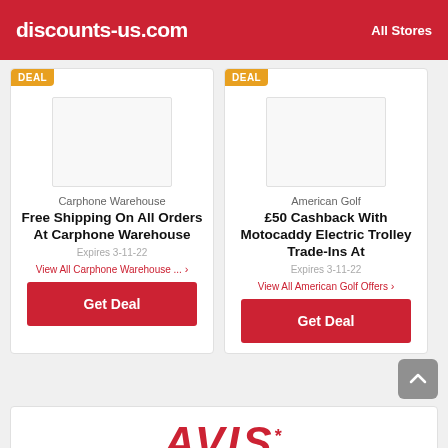discounts-us.com   All Stores
[Figure (other): Carphone Warehouse product image placeholder (white rectangle)]
Carphone Warehouse
Free Shipping On All Orders At Carphone Warehouse
Expires 3-11-22
View All Carphone Warehouse ... ›
Get Deal
[Figure (other): American Golf product image placeholder (white rectangle)]
American Golf
£50 Cashback With Motocaddy Electric Trolley Trade-Ins At
Expires 3-11-22
View All American Golf Offers ›
Get Deal
[Figure (logo): AVIS logo in red italic bold text]